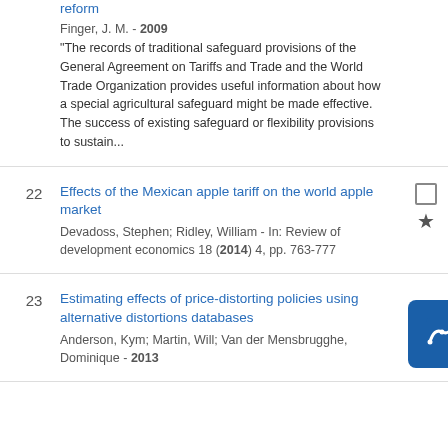reform
Finger, J. M. - 2009
"The records of traditional safeguard provisions of the General Agreement on Tariffs and Trade and the World Trade Organization provides useful information about how a special agricultural safeguard might be made effective. The success of existing safeguard or flexibility provisions to sustain...
22 Effects of the Mexican apple tariff on the world apple market
Devadoss, Stephen; Ridley, William - In: Review of development economics 18 (2014) 4, pp. 763-777
23 Estimating effects of price-distorting policies using alternative distortions databases
Anderson, Kym; Martin, Will; Van der Mensbrugghe, Dominique - 2013